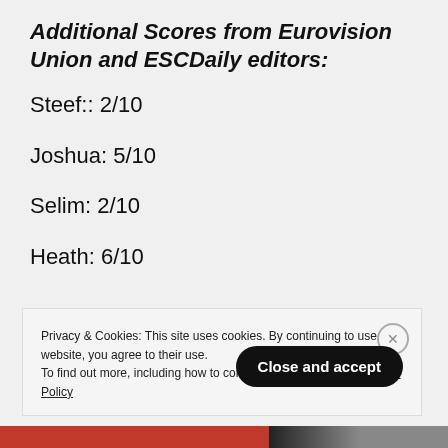Additional Scores from Eurovision Union and ESCDaily editors:
Steef:: 2/10
Joshua: 5/10
Selim: 2/10
Heath: 6/10
Privacy & Cookies: This site uses cookies. By continuing to use this website, you agree to their use. To find out more, including how to control cookies, see here: Cookie Policy
Close and accept